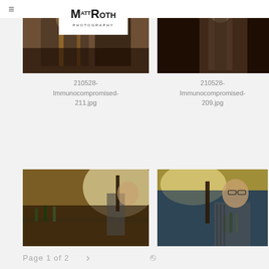Matt Roth Photography
[Figure (photo): Bar scene photo - person at a bar with bottles, crowded restaurant interior. Filename: 210528-Immunocompromised-211.jpg]
210528-
Immunocompromised-
211.jpg
[Figure (photo): Bar hallway/interior with overhead lighting. Filename: 210528-Immunocompromised-209.jpg]
210528-
Immunocompromised-
209.jpg
[Figure (photo): Person at bar taps pouring beer, bright light behind, bar interior. Filename: 210528-Immunocompromised-206.jpg]
210528-
Immunocompromised-
206.jpg
[Figure (photo): Person in striped shirt at bar taps, holding tap handle, bar interior with bokeh background. Filename: 210528-Immunocompromised-188.jpg]
210528-
Immunocompromised-
188.jpg
Page 1 of 2